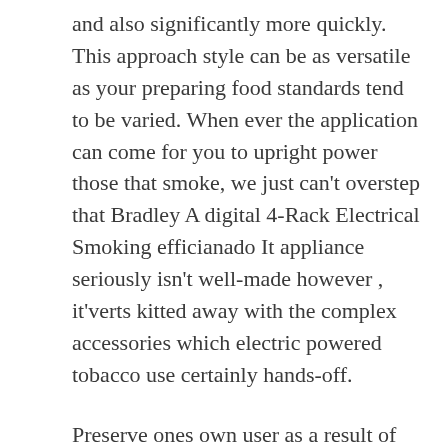and also significantly more quickly. This approach style can be as versatile as your preparing food standards tend to be varied. When ever the application can come for you to upright power those that smoke, we just can't overstep that Bradley A digital 4-Rack Electrical Smoking efficianado It appliance seriously isn't well-made however , it'verts kitted away with the complex accessories which electric powered tobacco use certainly hands-off.
Preserve ones own user as a result of together with your custom hold Dyna-Glo excellent include, Version # DG300C (bought for their own). Shot individuals light up, relax between